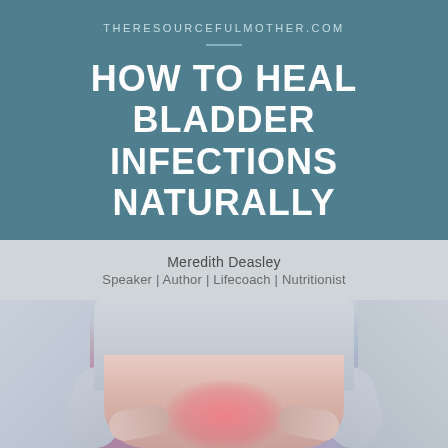THERESOURCEFULMOTHER.COM
HOW TO HEAL BLADDER INFECTIONS NATURALLY
Meredith Deasley
Speaker | Author | Lifecoach | Nutritionist
[Figure (photo): A person holding their lower abdomen with both hands, wearing a grey shirt, with a pink highlight on the abdomen area suggesting bladder pain or discomfort.]